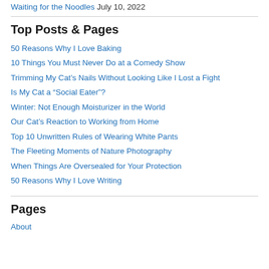Waiting for the Noodles  July 10, 2022
Top Posts & Pages
50 Reasons Why I Love Baking
10 Things You Must Never Do at a Comedy Show
Trimming My Cat’s Nails Without Looking Like I Lost a Fight
Is My Cat a “Social Eater”?
Winter: Not Enough Moisturizer in the World
Our Cat’s Reaction to Working from Home
Top 10 Unwritten Rules of Wearing White Pants
The Fleeting Moments of Nature Photography
When Things Are Oversealed for Your Protection
50 Reasons Why I Love Writing
Pages
About